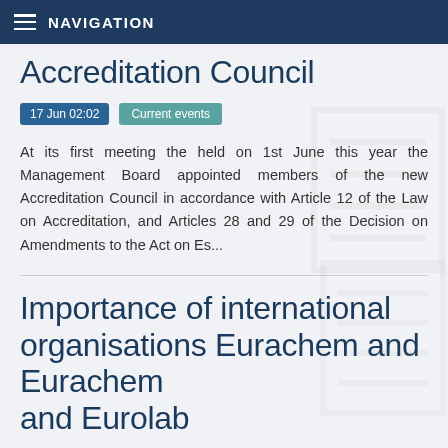NAVIGATION
Accreditation Council
17 Jun 02:02   Current events
At its first meeting the held on 1st June this year the Management Board appointed members of the new Accreditation Council in accordance with Article 12 of the Law on Accreditation, and Articles 28 and 29 of the Decision on Amendments to the Act on Es...
Importance of international organisations Eurachem and Eurolab